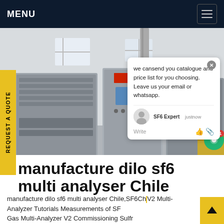MENU
[Figure (photo): Industrial gas analyzer machines in a factory/lab setting — multiple large grey metal cabinets with panels and displays arranged in a row in a bright room with windows]
REQUEST A QUOTE
we cansend you catalogue and price list for you choosing. Leave us your email or whatsapp.
SF6 Expert  justnow
Write
manufacture dilo sf6 multi analyser Chile
manufacture dilo sf6 multi analyser Chile,SF6China V2 Multi-Analyzer Tutorials Measurements of SF6 Gas Multi-Analyzer V2 Commissioning Sulfr